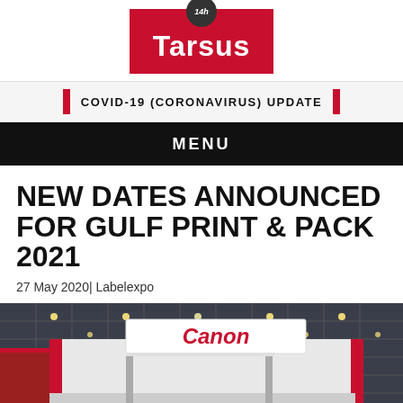[Figure (logo): Tarsus company logo — red rectangle with white 'Tarsus' text and a dark circular badge at top]
COVID-19 (CORONAVIRUS) UPDATE
MENU
NEW DATES ANNOUNCED FOR GULF PRINT & PACK 2021
27 May 2020| Labelexpo
[Figure (photo): Exhibition hall interior showing a Canon branded booth with large hanging sign, white structure, ceiling grid with lights]